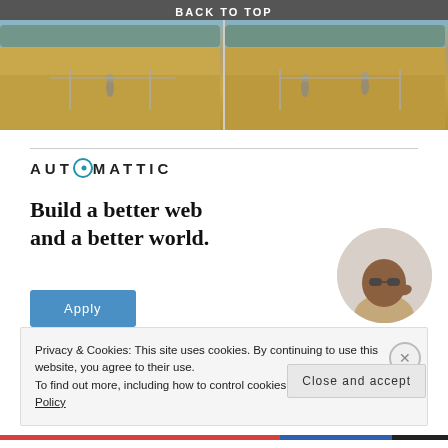BACK TO TOP
[Figure (photo): Two-panel photo of a sandy field/sports area with people and equipment visible in background; split in the center]
[Figure (logo): Automattic logo with compass-style letter O]
Build a better web and a better world.
[Figure (photo): Circular portrait photo of a man with sunglasses and a beard, wearing a beige top]
Apply
Privacy & Cookies: This site uses cookies. By continuing to use this website, you agree to their use.
To find out more, including how to control cookies, see here: Cookie Policy
Close and accept